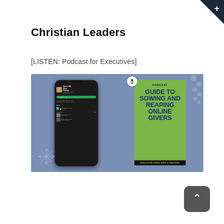Christian Leaders
[LISTEN: Podcast for Executives]
[Figure (illustration): Podcast promotional image showing a smartphone with a podcast app screen displaying 'This is HIS Story Podcast' and a green podcast cover titled 'GUIDE TO SOWING AND REAPING ONLINE GIVERS' with a microphone icon, on a blue-grey background with decorative elements. Text at bottom reads 'EXECUTIVE DIRECTORS & PASTORS'.]